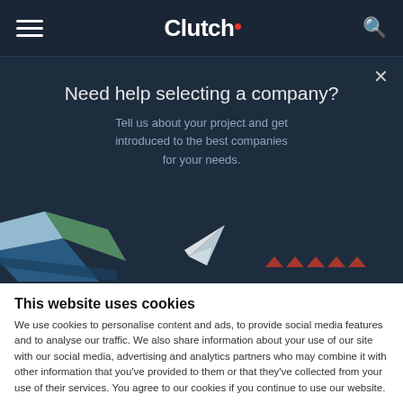Clutch
Need help selecting a company?
Tell us about your project and get introduced to the best companies for your needs.
[Figure (illustration): Decorative illustration showing geometric shapes (blue, green, white layered hexagonal/diamond forms) and a white paper airplane icon with small red arrow markers below it on a dark background.]
This website uses cookies
We use cookies to personalise content and ads, to provide social media features and to analyse our traffic. We also share information about your use of our site with our social media, advertising and analytics partners who may combine it with other information that you've provided to them or that they've collected from your use of their services. You agree to our cookies if you continue to use our website.
Close
Show details